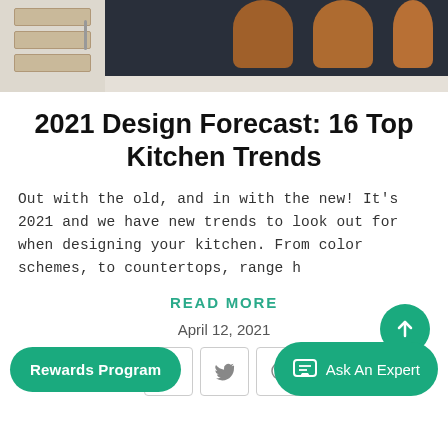[Figure (photo): Kitchen photo showing white drawers/cabinets on the left and a dark navy kitchen island with brown leather bar stools on the right]
2021 Design Forecast: 16 Top Kitchen Trends
Out with the old, and in with the new! It's 2021 and we have new trends to look out for when designing your kitchen. From color schemes, to countertops, range h
READ MORE
April 12, 2021
Rewards Program
Ask An Expert